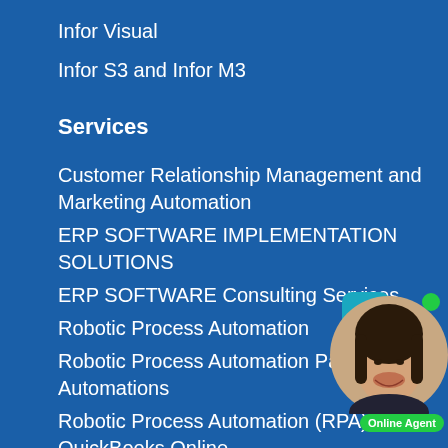Infor Visual
Infor S3 and Infor M3
Services
Customer Relationship Management and Marketing Automation
ERP SOFTWARE IMPLEMENTATION SOLUTIONS
ERP SOFTWARE Consulting Services
Robotic Process Automation
Robotic Process Automation Pack Automations
Robotic Process Automation (RPA) for QuickBooks Online
[Figure (illustration): Online Agent chat widget with photo of a woman, chat bubble with bar chart icon, green online indicator dot, and 'Online Agent' label badge in green]